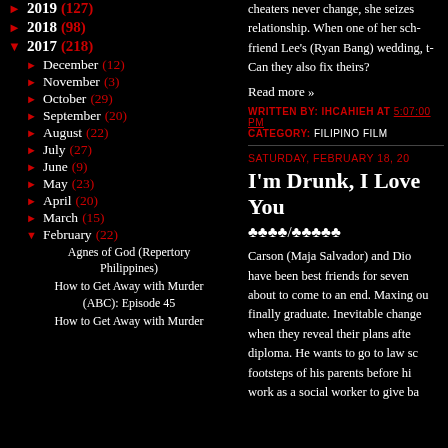► 2019 (127)
► 2018 (98)
▼ 2017 (218)
► December (12)
► November (3)
► October (29)
► September (20)
► August (22)
► July (27)
► June (9)
► May (23)
► April (20)
► March (15)
▼ February (22)
Agnes of God (Repertory Philippines)
How to Get Away with Murder (ABC): Episode 45
How to Get Away with Murder
cheaters never change, she seizes the relationship. When one of her sch- friend Lee's (Ryan Bang) wedding, t- Can they also fix theirs?
Read more »
WRITTEN BY: IHCAHIEH AT 5:07:00 PM  CATEGORY: FILIPINO FILM
SATURDAY, FEBRUARY 18, 20
I'm Drunk, I Love You
♣♣♣♣/♣♣♣♣♣
Carson (Maja Salvador) and Dio have been best friends for seven about to come to an end. Maxing ou finally graduate. Inevitable change when they reveal their plans afte diploma. He wants to go to law sc footsteps of his parents before hi work as a social worker to give ba